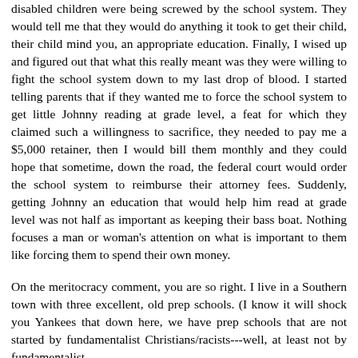disabled children were being screwed by the school system. They would tell me that they would do anything it took to get their child, their child mind you, an appropriate education. Finally, I wised up and figured out that what this really meant was they were willing to fight the school system down to my last drop of blood. I started telling parents that if they wanted me to force the school system to get little Johnny reading at grade level, a feat for which they claimed such a willingness to sacrifice, they needed to pay me a $5,000 retainer, then I would bill them monthly and they could hope that sometime, down the road, the federal court would order the school system to reimburse their attorney fees. Suddenly, getting Johnny an education that would help him read at grade level was not half as important as keeping their bass boat. Nothing focuses a man or woman's attention on what is important to them like forcing them to spend their own money.
On the meritocracy comment, you are so right. I live in a Southern town with three excellent, old prep schools. (I know it will shock you Yankees that down here, we have prep schools that are not started by fundamentalist Christians/racists---well, at least not by fundamentalist